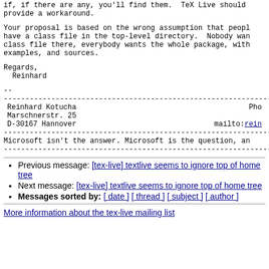if, if there are any, you'll find them. TeX Live should provide a workaround.
Your proposal is based on the wrong assumption that people have a class file in the top-level directory. Nobody wants a class file there, everybody wants the whole package, with examples, and sources.
Regards,
  Reinhard
--
--------------------------------------------------------------------------------
Reinhard Kotucha   Pho
Marschnerstr. 25
D-30167 Hannover   mailto:rein
--------------------------------------------------------------------------------
Microsoft isn't the answer. Microsoft is the question, an
--------------------------------------------------------------------------------
Previous message: [tex-live] textlive seems to ignore top of home tree
Next message: [tex-live] textlive seems to ignore top of home tree
Messages sorted by: [ date ] [ thread ] [ subject ] [ author ]
More information about the tex-live mailing list